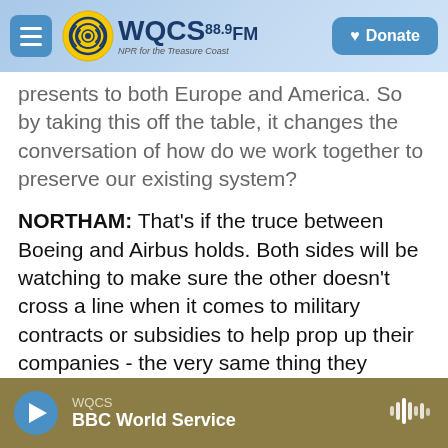WQCS 88.9 FM — NPR for the Treasure Coast | Donate
presents to both Europe and America. So by taking this off the table, it changes the conversation of how do we work together to preserve our existing system?
NORTHAM: That's if the truce between Boeing and Airbus holds. Both sides will be watching to make sure the other doesn't cross a line when it comes to military contracts or subsidies to help prop up their companies - the very same thing they complain about when it comes to China. Jackie Northam, NPR News.
(SOUNDBITE OF SEAS OF YEARS' 'MESOPELAGIC…
WQCS | BBC World Service